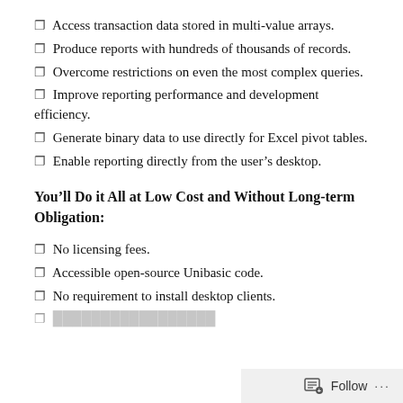Access transaction data stored in multi-value arrays.
Produce reports with hundreds of thousands of records.
Overcome restrictions on even the most complex queries.
Improve reporting performance and development efficiency.
Generate binary data to use directly for Excel pivot tables.
Enable reporting directly from the user’s desktop.
You’ll Do it All at Low Cost and Without Long-term Obligation:
No licensing fees.
Accessible open-source Unibasic code.
No requirement to install desktop clients.
Support to be continued…